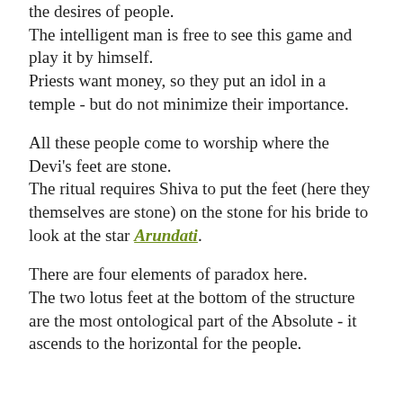the desires of people. The intelligent man is free to see this game and play it by himself. Priests want money, so they put an idol in a temple - but do not minimize their importance.
All these people come to worship where the Devi's feet are stone. The ritual requires Shiva to put the feet (here they themselves are stone) on the stone for his bride to look at the star Arundati.
There are four elements of paradox here. The two lotus feet at the bottom of the structure are the most ontological part of the Absolute - it ascends to the horizontal for the people.